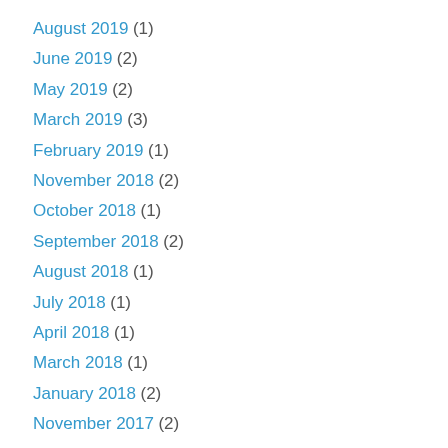August 2019 (1)
June 2019 (2)
May 2019 (2)
March 2019 (3)
February 2019 (1)
November 2018 (2)
October 2018 (1)
September 2018 (2)
August 2018 (1)
July 2018 (1)
April 2018 (1)
March 2018 (1)
January 2018 (2)
November 2017 (2)